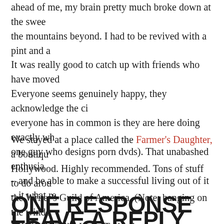ahead of me, my brain pretty much broke down at the swee the mountains beyond. I had to be revived with a pint and a
It was really good to catch up with friends who have moved Everyone seems genuinely happy, they acknowledge the ci everyone has in common is they are here doing exactly wh one guy who designs porn dvds). That unabashed enthusia – and be able to make a successful living out of it – it what re
We stayed at a place called the Farmer's Daughter, a boutiqu Hollywood. Highly recommended. Tons of stuff to do arou the Writer's Guild of America. (Note: banging on the windo IIIIIIIIIIN!" like Louis Tully, does not get you into the guild
ONE RESPONSE TO BAC AND NOT A SCRATCH O
LEAVE A REPLY